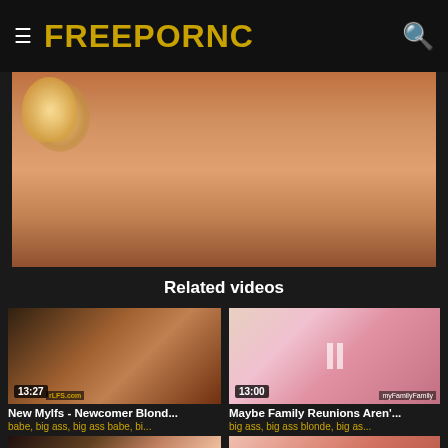FREEPORNC
[Figure (photo): Main video thumbnail showing adult content]
Related videos
[Figure (photo): Video thumbnail 1 - duration 13:27, rLFS.com watermark]
New Mylfs - Newcomer Blond...
babe, big ass, big ass babe, bi...
[Figure (photo): Video thumbnail 2 - duration 13:00, myFamilyFamily watermark]
Maybe Family Reunions Aren'...
big ass, big ass blonde, big as...
[Figure (photo): Video thumbnail 3 - bottom left]
[Figure (photo): Video thumbnail 4 - bottom right]